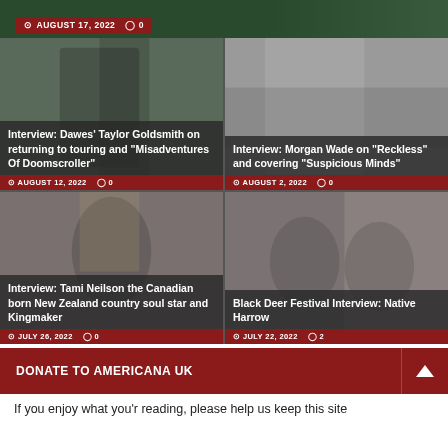[Figure (photo): Top banner photo with dark green background, partial view of person, with date badge AUGUST 17, 2022 and comment count 0]
[Figure (photo): Photo of Taylor Goldsmith with guitar, dark background, card overlay with title and date]
Interview: Dawes' Taylor Goldsmith on returning to touring and "Misadventures Of Doomscroller"
[Figure (photo): Photo of Morgan Wade, light interior background, card overlay with title and date]
Interview: Morgan Wade on “Reckless” and covering “Suspicious Minds”
[Figure (photo): Photo of Tami Neilson wearing hat, outdoor background, card overlay with title and date]
Interview: Tami Neilson the Canadian born New Zealand country soul star and Kingmaker
[Figure (photo): Photo of two people from Native Harrow, indoor background, card overlay with title and date]
Black Deer Festival Interview: Native Harrow
DONATE TO AMERICANA UK
If you enjoy what you'r reading, please help us keep this site